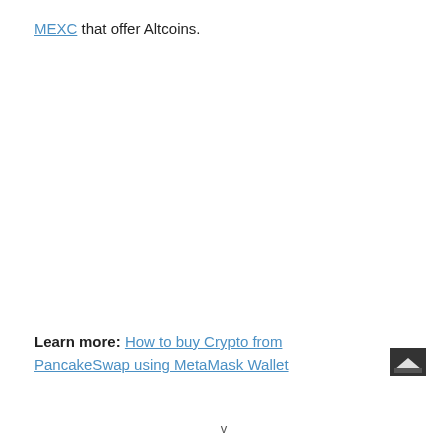MEXC that offer Altcoins.
Learn more: How to buy Crypto from PancakeSwap using MetaMask Wallet
[Figure (other): Small dark square icon showing a stylized mountain/landscape symbol in the bottom right corner]
v